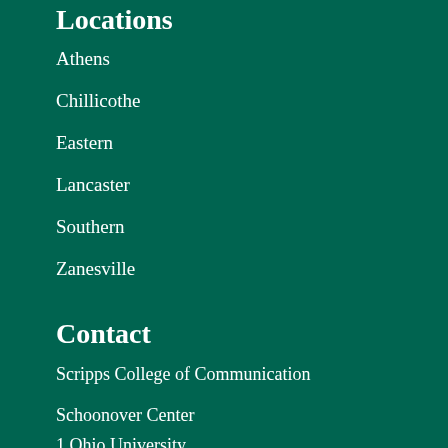Locations
Athens
Chillicothe
Eastern
Lancaster
Southern
Zanesville
Contact
Scripps College of Communication
Schoonover Center
1 Ohio University
Athens OH 45701-2979